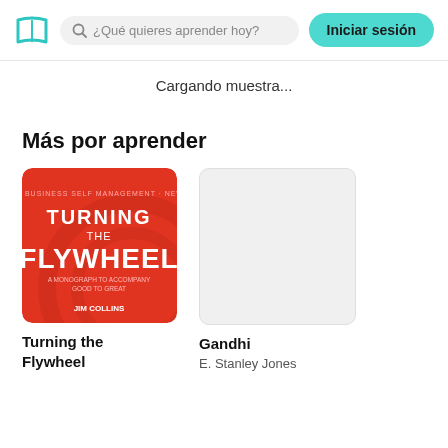¿Qué quieres aprender hoy?  Iniciar sesión
Cargando muestra...
Más por aprender
[Figure (illustration): Book cover: Turning the Flywheel — red background with white bold text]
Turning the Flywheel
[Figure (illustration): Blank/empty book cover placeholder — light gray rectangle]
Gandhi
E. Stanley Jones